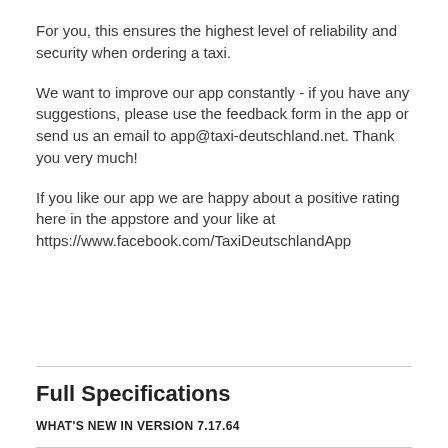For you, this ensures the highest level of reliability and security when ordering a taxi.
We want to improve our app constantly - if you have any suggestions, please use the feedback form in the app or send us an email to app@taxi-deutschland.net. Thank you very much!
If you like our app we are happy about a positive rating here in the appstore and your like at https://www.facebook.com/TaxiDeutschlandApp
Full Specifications
WHAT'S NEW IN VERSION 7.17.64